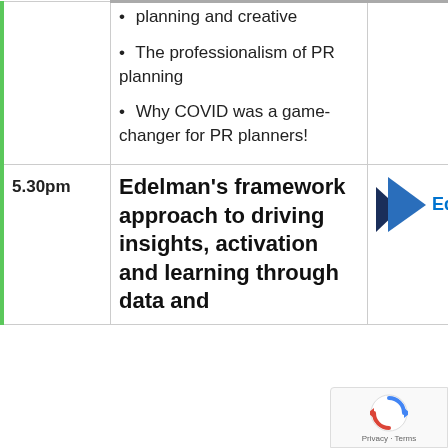planning and creative
The professionalism of PR planning
Why COVID was a game-changer for PR planners!
| Time | Session | Sponsor |
| --- | --- | --- |
| 5.30pm | Edelman's framework approach to driving insights, activation and learning through data and | Edelman |
[Figure (logo): Edelman company logo with blue arrow/triangle graphic and blue text 'Edelman']
[Figure (other): reCAPTCHA privacy badge with spinning arrows icon and 'Privacy · Terms' text]